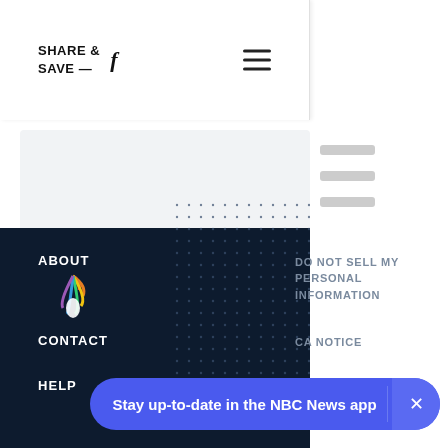SHARE & SAVE —
[Figure (screenshot): NBC News website screenshot showing share/save bar, hamburger menu, content placeholder, dark footer with NBC peacock logo, footer navigation links (ABOUT, CONTACT, HELP, DO NOT SELL MY PERSONAL INFORMATION, CA NOTICE, TERMS OF SERVICE), and a blue app promotion banner reading 'Stay up-to-date in the NBC News app']
ABOUT
DO NOT SELL MY PERSONAL INFORMATION
CONTACT
CA NOTICE
HELP
TERMS OF SERVICE
Stay up-to-date in the NBC News app